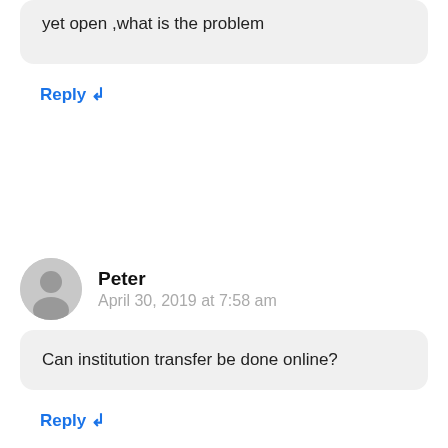yet open ,what is the problem
Reply ↲
Peter
April 30, 2019 at 7:58 am
Can institution transfer be done online?
Reply ↲